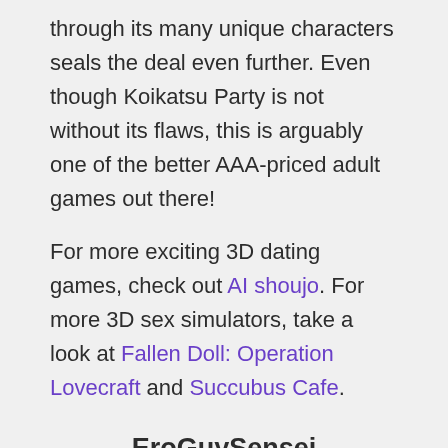through its many unique characters seals the deal even further. Even though Koikatsu Party is not without its flaws, this is arguably one of the better AAA-priced adult games out there!
For more exciting 3D dating games, check out AI shoujo. For more 3D sex simulators, take a look at Fallen Doll: Operation Lovecraft and Succubus Cafe.
EroGuySensei
www.eroguysensei.com